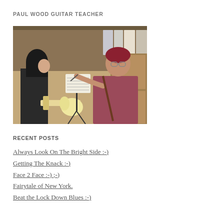PAUL WOOD GUITAR TEACHER
[Figure (photo): A guitar teacher pointing at sheet music on a stand, instructing a student who is holding an electric guitar. The teacher wears a dark red bandana and glasses. The setting appears to be an indoor room with shelves in the background.]
RECENT POSTS
Always Look On The Bright Side :-)
Getting The Knack :-)
Face 2 Face :-) ;-)
Fairytale of New York.
Beat the Lock Down Blues :-)